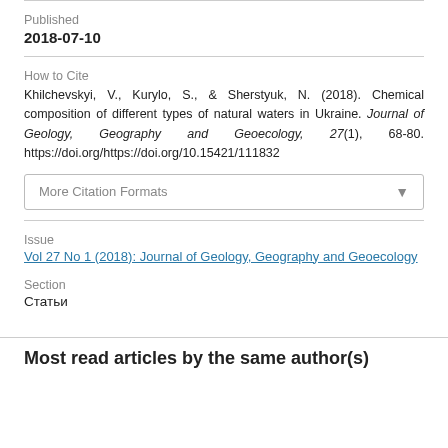Published
2018-07-10
How to Cite
Khilchevskyi, V., Kurylo, S., & Sherstyuk, N. (2018). Chemical composition of different types of natural waters in Ukraine. Journal of Geology, Geography and Geoecology, 27(1), 68-80. https://doi.org/https://doi.org/10.15421/111832
More Citation Formats
Issue
Vol 27 No 1 (2018): Journal of Geology, Geography and Geoecology
Section
Статьи
Most read articles by the same author(s)